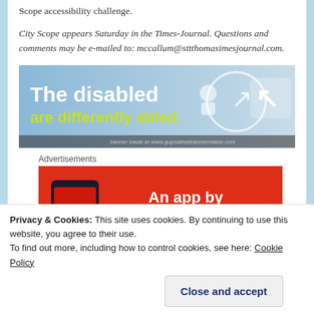Scope accessibility challenge.
City Scope appears Saturday in the Times-Journal. Questions and comments may be e-mailed to: mccallum@sttthomasimesjournal.com.
[Figure (illustration): Banner ad: 'The disabled are differently abled.' with accessibility/arrow icons on blue gradient background. Footer text: banner made at www.gujosafreebannermaker.com]
Advertisements
[Figure (illustration): Red advertisement banner: 'An app by listeners, for listeners.' with a phone showing 'Distrib' app on the left side.]
Privacy & Cookies: This site uses cookies. By continuing to use this website, you agree to their use.
To find out more, including how to control cookies, see here: Cookie Policy
Close and accept